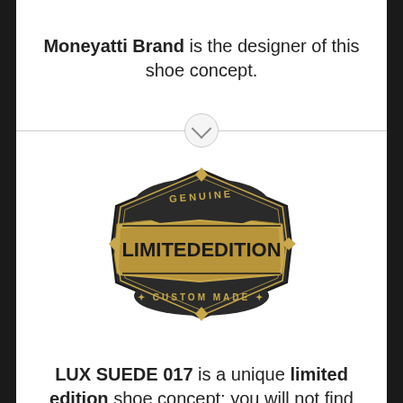Moneyatti Brand is the designer of this shoe concept.
[Figure (illustration): A black and gold badge/emblem with text reading 'GENUINE' at the top, 'LIMITED EDITION' in large letters in the center, and 'CUSTOM MADE' at the bottom, in a hexagonal diamond shape.]
LUX SUEDE 017 is a unique limited edition shoe concept; you will not find this custom design anywhere else!